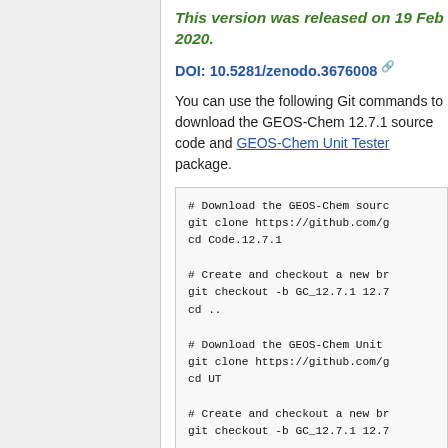This version was released on 19 Feb 2020.
DOI: 10.5281/zenodo.3676008
You can use the following Git commands to download the GEOS-Chem 12.7.1 source code and GEOS-Chem Unit Tester package.
# Download the GEOS-Chem source code
git clone https://github.com/g...
cd Code.12.7.1

# Create and checkout a new branch
git checkout -b GC_12.7.1 12.7...
cd ..

# Download the GEOS-Chem Unit Tester
git clone https://github.com/g...
cd UT

# Create and checkout a new branch
git checkout -b GC_12.7.1 12.7...